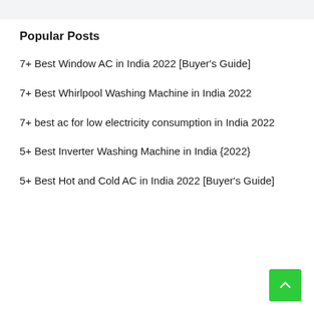Popular Posts
7+ Best Window AC in India 2022 [Buyer's Guide]
7+ Best Whirlpool Washing Machine in India 2022
7+ best ac for low electricity consumption in India 2022
5+ Best Inverter Washing Machine in India {2022}
5+ Best Hot and Cold AC in India 2022 [Buyer's Guide]